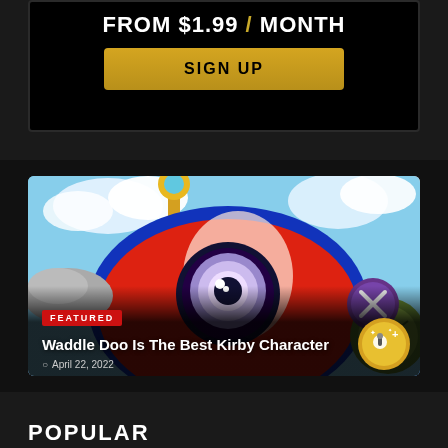FROM $1.99 / MONTH
SIGN UP
[Figure (illustration): Kirby character artwork featuring Waddle Doo with large eye, red body, blue outline, purple button badge, gold crown/scepter and green character on right side, blue sky background]
FEATURED
Waddle Doo Is The Best Kirby Character
April 22, 2022
POPULAR